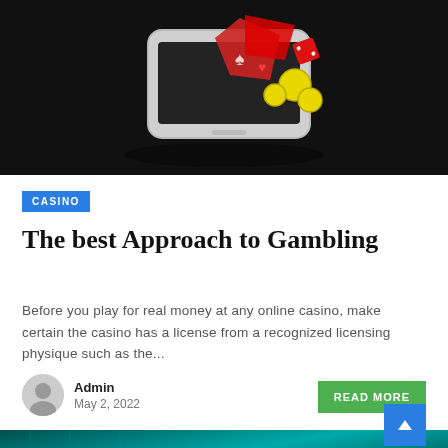[Figure (illustration): Black background illustration showing a smartphone with casino-related items (playing cards, dice, coins) floating out of it in 3D perspective.]
CASINO
The best Approach to Gambling
Before you play for real money at any online casino, make certain the casino has a license from a recognized licensing physique such as the...
Admin
May 2, 2022
READ MORE
[Figure (photo): Partial photo showing teal/cyan colored background, likely a casino or technology related image, partially visible at bottom of page.]